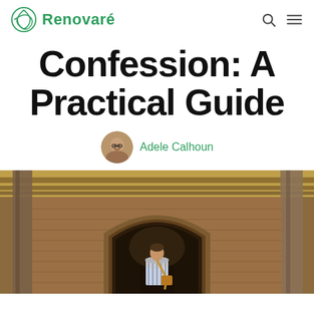Renovaré
Confession: A Practical Guide
Adele Calhoun
[Figure (photo): A person seen from behind, standing in front of a large brick archway inside a historic building with wooden beam ceiling and stone/brick columns.]